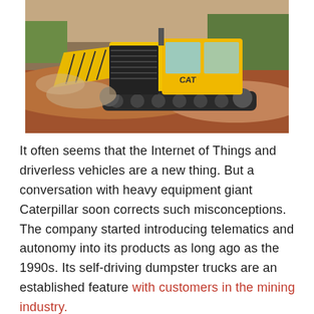[Figure (photo): A yellow Caterpillar bulldozer/track-type tractor pushing red-brown earth on a construction or mining site. Trees visible in the background. CAT branding visible on the machine.]
It often seems that the Internet of Things and driverless vehicles are a new thing. But a conversation with heavy equipment giant Caterpillar soon corrects such misconceptions.
The company started introducing telematics and autonomy into its products as long ago as the 1990s. Its self-driving dumpster trucks are an established feature with customers in the mining industry.
Sensors in its products routinely collect and report